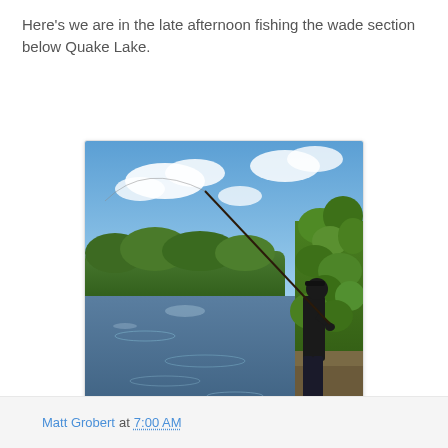Here's we are in the late afternoon fishing the wade section below Quake Lake.
[Figure (photo): A person fly fishing while standing on the bank of a river next to green bushes, with a blue sky and clouds in the background and green trees visible across the water. The fishing rod is extended casting a line.]
Sharpen your hooks!
Matt Grobert at 7:00 AM